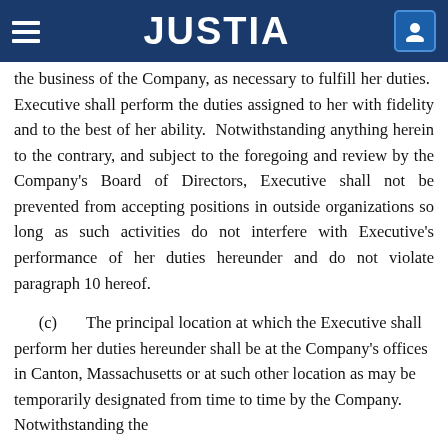JUSTIA
the business of the Company, as necessary to fulfill her duties.  Executive shall perform the duties assigned to her with fidelity and to the best of her ability.  Notwithstanding anything herein to the contrary, and subject to the foregoing and review by the Company's Board of Directors, Executive shall not be prevented from accepting positions in outside organizations so long as such activities do not interfere with Executive's performance of her duties hereunder and do not violate paragraph 10 hereof.
(c)        The principal location at which the Executive shall perform her duties hereunder shall be at the Company's offices in Canton, Massachusetts or at such other location as may be temporarily designated from time to time by the Company.  Notwithstanding the foregoing, Executive shall perform her duties in other